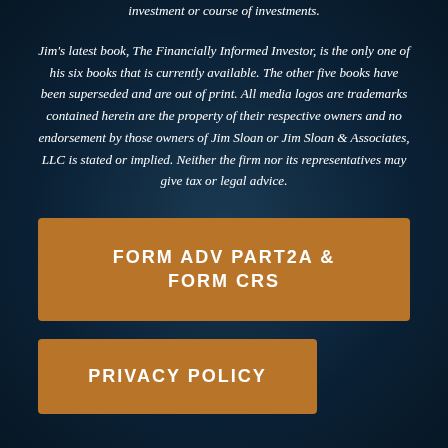investment or course of investments.
Jim's latest book, The Financially Informed Investor, is the only one of his six books that is currently available. The other five books have been superseded and are out of print. All media logos are trademarks contained herein are the property of their respective owners and no endorsement by those owners of Jim Sloan or Jim Sloan & Associates, LLC is stated or implied. Neither the firm nor its representatives may give tax or legal advice.
[Figure (other): Orange button labeled FORM ADV PART2A & FORM CRS]
[Figure (other): Orange button labeled PRIVACY POLICY]